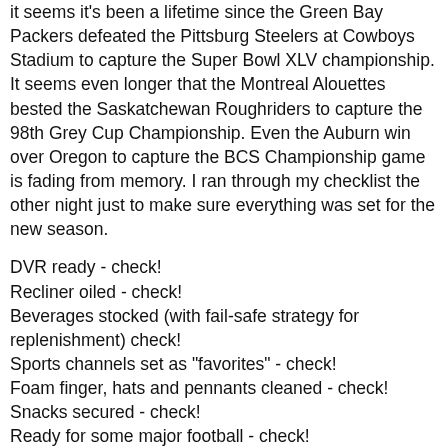it seems it's been a lifetime since the Green Bay Packers defeated the Pittsburg Steelers at Cowboys Stadium to capture the Super Bowl XLV championship. It seems even longer that the Montreal Alouettes bested the Saskatchewan Roughriders to capture the 98th Grey Cup Championship. Even the Auburn win over Oregon to capture the BCS Championship game is fading from memory. I ran through my checklist the other night just to make sure everything was set for the new season.
DVR ready - check!
Recliner oiled - check!
Beverages stocked (with fail-safe strategy for replenishment) check!
Sports channels set as "favorites" - check!
Foam finger, hats and pennants cleaned - check!
Snacks secured - check!
Ready for some major football - check!
Looks like I'm good for the go and if was just me, well, I'd be set. But, of course, there's my bride to consider too. Now truth be told she doesn't always appreciate the fascination I have for TV football. She is of the opinion that time spent watching game after game is time that could be